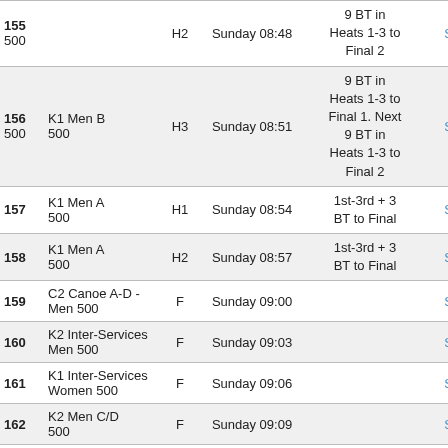| # | Event | Heat | Day Time | Progression |  |
| --- | --- | --- | --- | --- | --- |
| 155 | K1 Men B 500 | H2 | Sunday 08:48 | 9 BT in Heats 1-3 to Final 2 | StartList |
| 156 | K1 Men B 500 | H3 | Sunday 08:51 | 9 BT in Heats 1-3 to Final 1. Next 9 BT in Heats 1-3 to Final 2 | StartList |
| 157 | K1 Men A 500 | H1 | Sunday 08:54 | 1st-3rd + 3 BT to Final | StartList |
| 158 | K1 Men A 500 | H2 | Sunday 08:57 | 1st-3rd + 3 BT to Final | StartList |
| 159 | C2 Canoe A-D - Men 500 | F | Sunday 09:00 |  | StartList |
| 160 | K2 Inter-Services Men 500 | F | Sunday 09:03 |  | StartList |
| 161 | K1 Inter-Services Women 500 | F | Sunday 09:06 |  | StartList |
| 162 | K2 Men C/D 500 | F | Sunday 09:09 |  | StartList |
|  |  |  |  | 1st-2nd + |  |